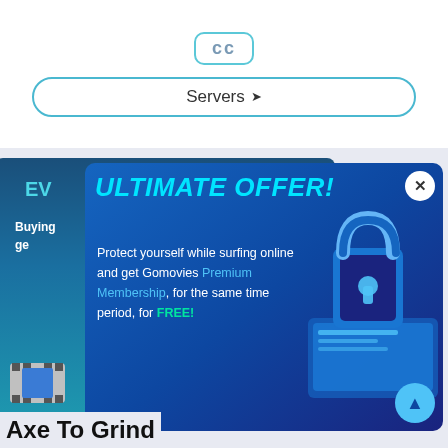[Figure (screenshot): CC badge button with teal border]
Servers ▾
[Figure (screenshot): A popup advertisement overlay on a streaming website. Shows 'ULTIMATE OFFER!' in cyan italic text on a dark blue gradient background. Body text reads: 'Protect yourself while surfing online and get Gomovies Premium Membership, for the same time period, for FREE!' with a padlock/laptop security illustration on the right. An X close button is in the top right corner. A scroll-to-top arrow button is at the bottom right.]
Axe To Grind